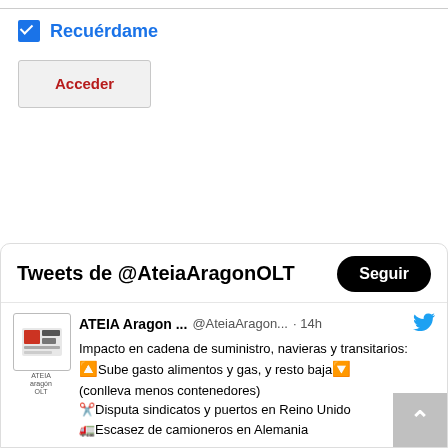Recuérdame
Acceder
[Figure (screenshot): Twitter widget showing Tweets de @AteiaAragonOLT with a Seguir button and a tweet from ATEIA Aragon ... @AteiaAragon... 14h about supply chain impact]
Tweets de @AteiaAragonOLT
Seguir
ATEIA Aragon ... @AteiaAragon... · 14h
Impacto en cadena de suministro, navieras y transitarios:
🔼Sube gasto alimentos y gas, y resto baja🔽
(conlleva menos contenedores)
✂️Disputa sindicatos y puertos en Reino Unido
🚛Escasez de camioneros en Alemania